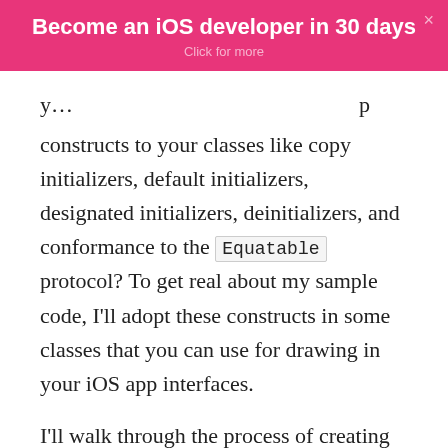[Figure (infographic): Pink banner advertisement: 'Become an iOS developer in 30 days' with subtitle 'Click for more' and a close (×) button in top right corner]
y... constructs to your classes like copy initializers, default initializers, designated initializers, deinitializers, and conformance to the Equatable protocol? To get real about my sample code, I'll adopt these constructs in some classes that you can use for drawing in your iOS app interfaces.
I'll walk through the process of creating several protocols, creating classes that adopt those protocols, implement inheritance in these classes, and use instances of the classes (objects), all to illustrate my best practices — and to show some of